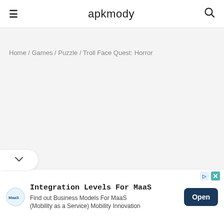apkmody
Home / Games / Puzzle / Troll Face Quest: Horror
[Figure (other): Advertisement banner: Integration Levels For MaaS - Find out Business Models For MaaS (Mobility as a Service) Mobility Innovation. Logo of Masility Innovators on left, Open button on right.]